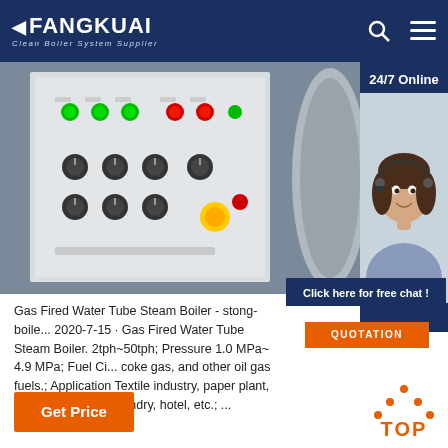FANGKUAI Clean Boiler System Supplier
[Figure (photo): Close-up photo of an industrial boiler control panel with green and red indicator lights, switches, and a yellow emergency stop button. A large cylindrical boiler drum is partially visible on the right.]
[Figure (photo): 24/7 Online customer service representative - smiling woman wearing a telephone headset]
Click here for free chat !
QUOTATION
Gas Fired Water Tube Steam Boiler - stong-boile... 2020-7-15 · Gas Fired Water Tube Steam Boiler. 2tph~50tph; Pressure 1.0 MPa~ 4.9 MPa; Fuel Ci... coke gas, and other oil gas fuels.; Application Textile industry, paper plant, food & beverage, laundry, hotel, etc.; ...
Get Price